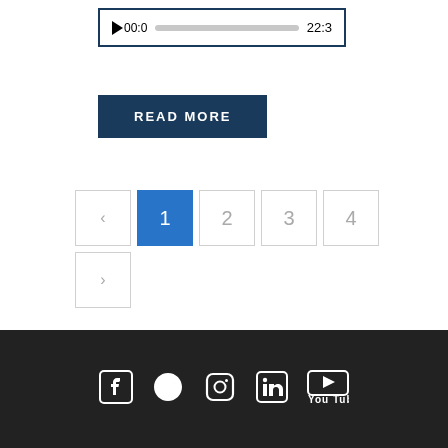[Figure (screenshot): Audio player widget with play button showing 00:0, a gray progress bar, and end time 22:3, all inside a dark blue border box.]
READ MORE
[Figure (other): Pagination controls showing back arrow, page 1 (active/highlighted in blue), pages 2, 3, 4, and a forward arrow.]
Social media icons: Facebook, Twitter, Instagram, LinkedIn, YouTube